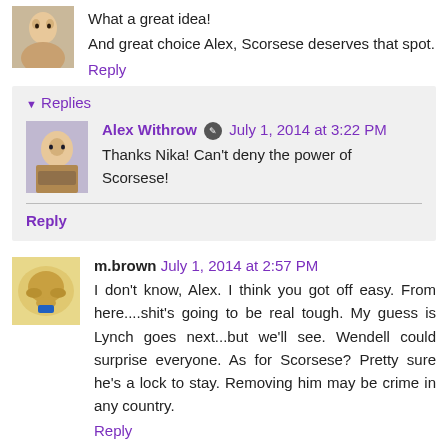What a great idea!
And great choice Alex, Scorsese deserves that spot.
Reply
▾ Replies
Alex Withrow [edit icon] July 1, 2014 at 3:22 PM
Thanks Nika! Can't deny the power of Scorsese!
Reply
m.brown July 1, 2014 at 2:57 PM
I don't know, Alex. I think you got off easy. From here....shit's going to be real tough. My guess is Lynch goes next...but we'll see. Wendell could surprise everyone. As for Scorsese? Pretty sure he's a lock to stay. Removing him may be crime in any country.
Reply